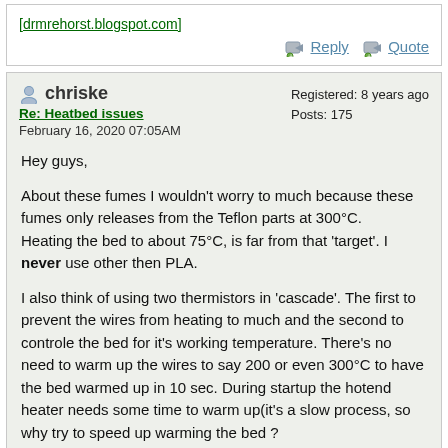[drmrehorst.blogspot.com]
Reply   Quote
chriske
Re: Heatbed issues
February 16, 2020 07:05AM
Registered: 8 years ago
Posts: 175
Hey guys,

About these fumes I wouldn't worry to much because these fumes only releases from the Teflon parts at 300°C.
Heating the bed to about 75°C, is far from that 'target'. I never use other then PLA.

I also think of using two thermistors in 'cascade'. The first to prevent the wires from heating to much and the second to controle the bed for it's working temperature. There's no need to warm up the wires to say 200 or even 300°C to have the bed warmed up in 10 sec. During startup the hotend heater needs some time to warm up(it's a slow process, so why try to speed up warming the bed  ?